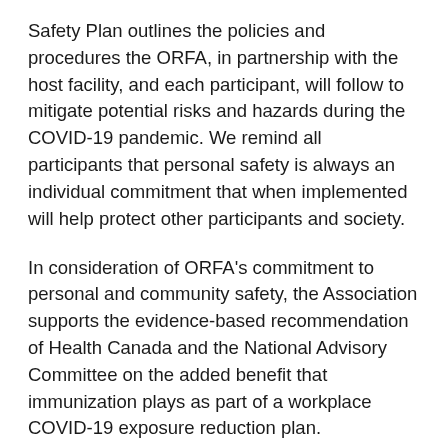Safety Plan outlines the policies and procedures the ORFA, in partnership with the host facility, and each participant, will follow to mitigate potential risks and hazards during the COVID-19 pandemic. We remind all participants that personal safety is always an individual commitment that when implemented will help protect other participants and society.
In consideration of ORFA's commitment to personal and community safety, the Association supports the evidence-based recommendation of Health Canada and the National Advisory Committee on the added benefit that immunization plays as part of a workplace COVID-19 exposure reduction plan. Vaccination is an additional tool that can support facility managements hand disinfection, face protection and social distancing programs.
Effective October 1, 2021, the ORFA requires all existing and future employees, volunteers, instructors, guest speakers, and other contractors who are invited